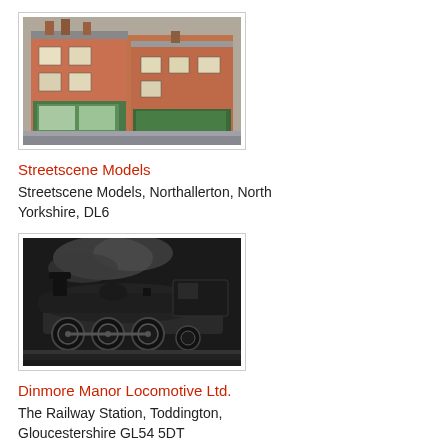[Figure (photo): Photo of model building terraced shopfronts, brick-built, painted in model railway style]
Streetscene Models
Streetscene Models, Northallerton, North Yorkshire, DL6
[Figure (photo): Photo of a steam locomotive model, black engine, close-up side view]
Dinmore Manor Locomotive Ltd.
The Railway Station, Toddington, Gloucestershire GL54 5DT
[Figure (photo): Photo of model railway layout showing tracks and a yellow train]
Dorking and District Model Railway Club
RH4 1SG